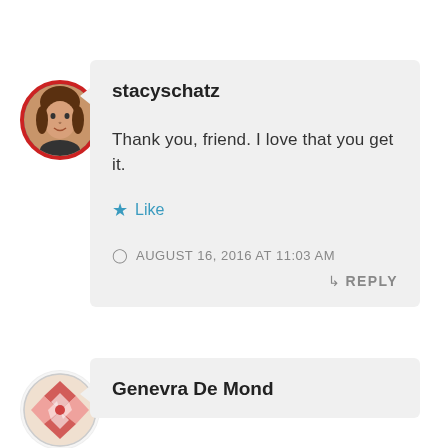[Figure (photo): Circular avatar photo of a woman with brown hair, bordered by a red ring]
stacyschatz
Thank you, friend. I love that you get it.
★ Like
AUGUST 16, 2016 AT 11:03 AM
↵ REPLY
[Figure (illustration): Circular avatar with a decorative geometric/quilt pattern in red, pink, and white]
Genevra De Mond